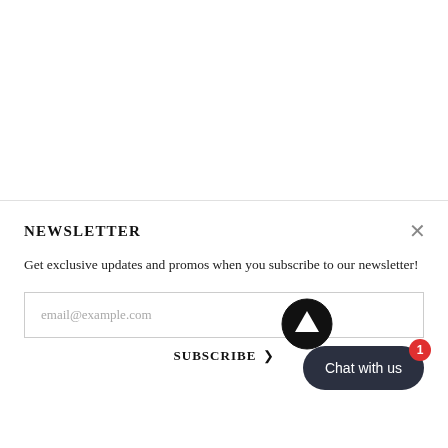NEWSLETTER
Get exclusive updates and promos when you subscribe to our newsletter!
email@example.com
SUBSCRIBE >
[Figure (infographic): Circular scroll-to-top arrow button (black circle with white upward arrow)]
[Figure (infographic): Dark pill-shaped 'Chat with us' button with red notification badge showing 1]